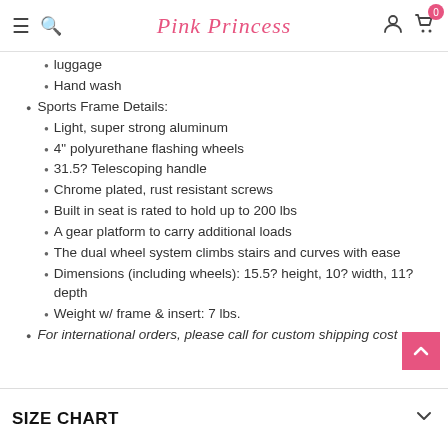Pink Princess
luggage
Hand wash
Sports Frame Details:
Light, super strong aluminum
4" polyurethane flashing wheels
31.5? Telescoping handle
Chrome plated, rust resistant screws
Built in seat is rated to hold up to 200 lbs
A gear platform to carry additional loads
The dual wheel system climbs stairs and curves with ease
Dimensions (including wheels): 15.5? height, 10? width, 11? depth
Weight w/ frame & insert: 7 lbs.
For international orders, please call for custom shipping cost
SIZE CHART